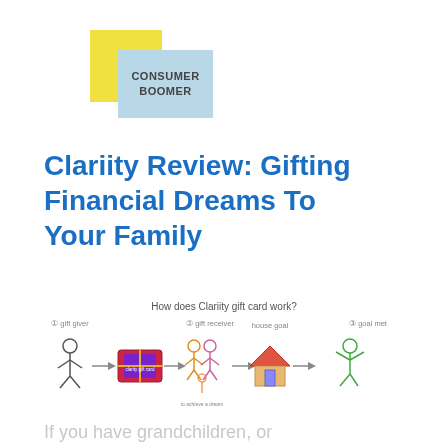[Figure (logo): Consumer Boomer logo: yellow square overlapping a light blue rectangle with text CONSUMER BOOMER]
Clariity Review: Gifting Financial Dreams To Your Family
[Figure (infographic): Infographic showing how Clariity gift card works: gift giver → clarity gift card → gift receiver (couple with child) → house goal → goal met (person celebrating). Steps labeled: 1 gift giver, 2 gift receiver, 3 goal met.]
If you have grandchildren, or